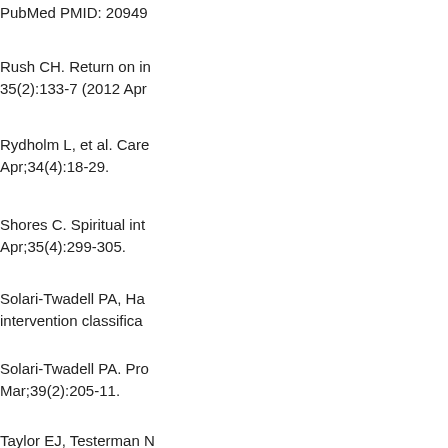PubMed PMID: 20949
Rush CH. Return on in 35(2):133-7 (2012 Apr
Rydholm L, et al. Care Apr;34(4):18-29.
Shores C. Spiritual int Apr;35(4):299-305.
Solari-Twadell PA, Ha intervention classifica
Solari-Twadell PA. Pro Mar;39(2):205-11.
Taylor EJ, Testerman N Jun;31(2):94-9.
Thompson P. Clergy k Nursing. 2010 Jan-Feb